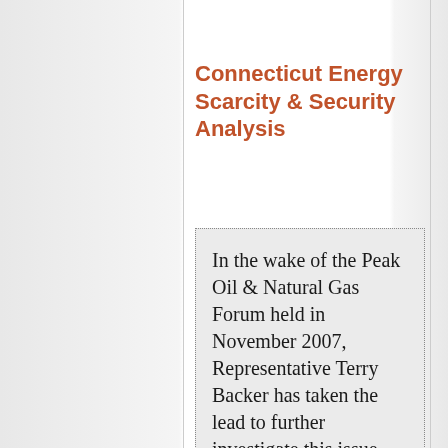Connecticut Energy Scarcity & Security Analysis
In the wake of the Peak Oil & Natural Gas Forum held in November 2007, Representative Terry Backer has taken the lead to further investigate this issue and has recently been appointed as Co-Chairman of